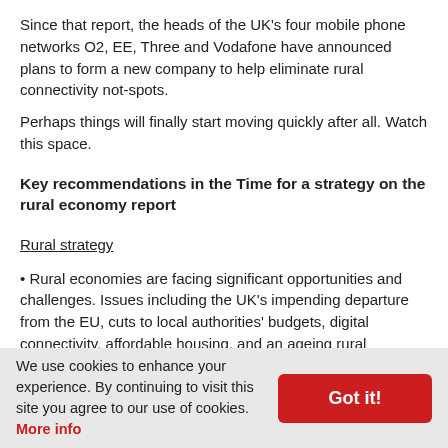Since that report, the heads of the UK's four mobile phone networks O2, EE, Three and Vodafone have announced plans to form a new company to help eliminate rural connectivity not-spots.
Perhaps things will finally start moving quickly after all. Watch this space.
Key recommendations in the Time for a strategy on the rural economy report
Rural strategy
• Rural economies are facing significant opportunities and challenges. Issues including the UK's impending departure from the EU, cuts to local authorities' budgets, digital connectivity, affordable housing, and an ageing rural population make this an ideal moment for the Government to develop a comprehensive rural strategy, to set out its ambition for rural areas.
• The Government needs to rethink and reform the rural proofing process to ensure that relevant policies and legislation are attuned to the needs of rural communities and rural economies.
We use cookies to enhance your experience. By continuing to visit this site you agree to our use of cookies. More info